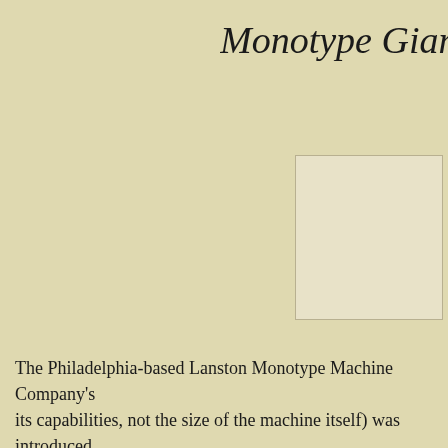Monotype Giant C
[Figure (illustration): A blank/empty rectangular box with a thin border, positioned in the upper right area of the page]
The Philadelphia-based Lanston Monotype Machine Company's its capabilities, not the size of the machine itself) was introduced technically unrelated to the Monotype Composition and Type-&- process was led by Lanston Monotype's chief engineer at the timo
A Lanston Monotype Machine Company sales brochure on The M capabilities in this way:
"The Monotype Giant Caster makes type for use in hand compos and 84 point title line caps. [italics original] The 14 and 18 point